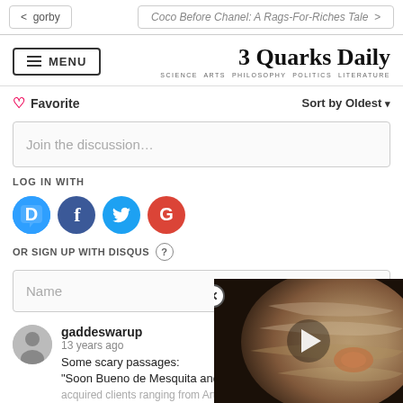< gorby   |   Coco Before Chanel: A Rags-For-Riches Tale >
[Figure (screenshot): 3 Quarks Daily website header with MENU button and site logo]
Favorite   Sort by Oldest
Join the discussion…
LOG IN WITH
[Figure (logo): Social login icons: Disqus (D), Facebook (F), Twitter (T), Google (G)]
OR SIGN UP WITH DISQUS ?
Name
gaddeswarup
13 years ago
Some scary passages:
"Soon Bueno de Mesquita and Org acquired clients ranging from Arthur...